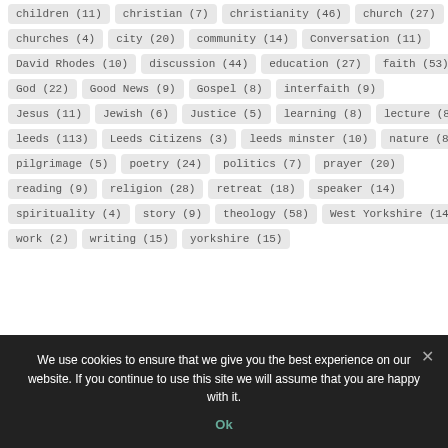children (11)
christian (7)
christianity (46)
church (27)
churches (4)
city (20)
community (14)
Conversation (11)
David Rhodes (10)
discussion (44)
education (27)
faith (53)
God (22)
Good News (9)
Gospel (8)
interfaith (9)
Jesus (11)
Jewish (6)
Justice (5)
learning (8)
lecture (8)
leeds (113)
Leeds Citizens (3)
leeds minster (10)
nature (8)
pilgrimage (5)
poetry (24)
politics (7)
prayer (20)
reading (9)
religion (28)
retreat (18)
speaker (14)
spirituality (4)
story (9)
theology (58)
West Yorkshire (14)
work (2)
writing (15)
yorkshire (15)
We use cookies to ensure that we give you the best experience on our website. If you continue to use this site we will assume that you are happy with it.
Ok